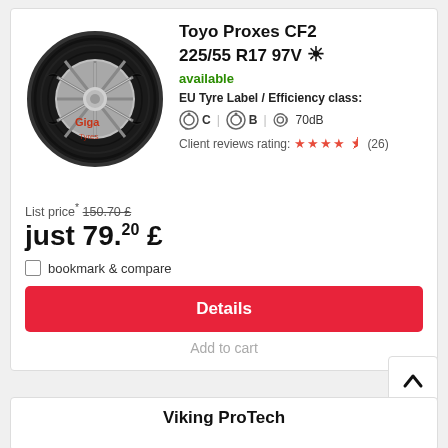[Figure (photo): Toyo Proxes CF2 tyre product photo with Giga Tyres watermark]
Toyo Proxes CF2 225/55 R17 97V ☀
available
EU Tyre Label / Efficiency class:
C | B | 70dB
Client reviews rating: ★★★★½ (26)
List price* 150.70 £
just 79.20 £
bookmark & compare
Details
Add to cart
Viking ProTech